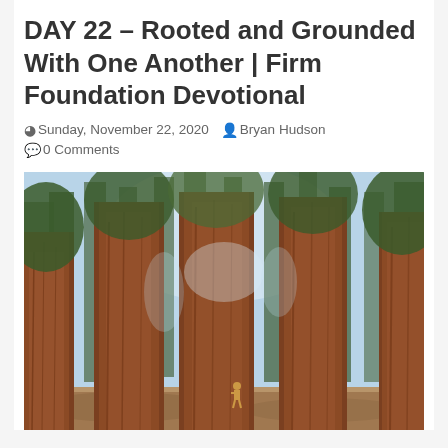DAY 22 – Rooted and Grounded With One Another | Firm Foundation Devotional
Sunday, November 22, 2020  Bryan Hudson  0 Comments
[Figure (photo): A photograph of massive sequoia/redwood trees in a forest. The towering trees have thick reddish-brown bark. A small person stands among the trees, dwarfed by their size. Sunlight filters through the green canopy above.]